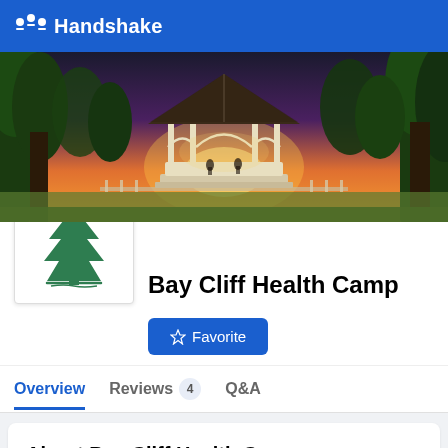Handshake
[Figure (photo): Banner photo of a gazebo at sunset surrounded by trees]
[Figure (logo): Bay Cliff Health Camp logo — green pine tree]
Bay Cliff Health Camp
Favorite
Overview   Reviews 4   Q&A
About Bay Cliff Health Camp
Founded in 1934, Bay Cliff Health Camp is a nonprofit therapy and wellness center for children and adults with disabilities, located on the shores of Lake Superior in Big